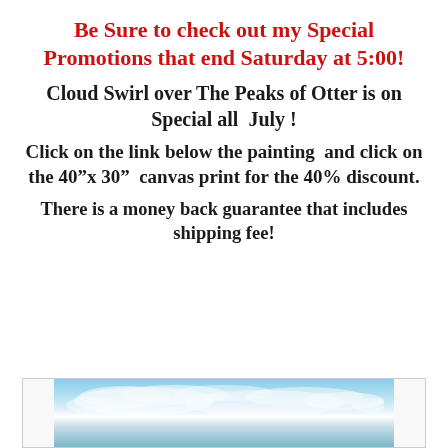Be Sure to check out my Special Promotions that end Saturday at 5:00!
Cloud Swirl over The Peaks of Otter is on Special all  July !
Click on the link below the painting  and click on the 40”x 30”  canvas print for the 40% discount.
There is a money back guarantee that includes shipping fee!
[Figure (photo): Partial view of a landscape painting showing clouds and sky over mountains (Cloud Swirl over The Peaks of Otter)]